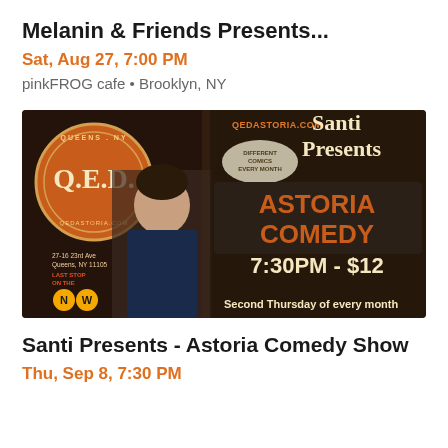Melanin & Friends Presents...
Sat, Aug 27, 7:00 PM
pinkFROG cafe • Brooklyn, NY
[Figure (illustration): Promotional banner for Santi Presents - Astoria Comedy Show at Q.E.D. venue in Queens, NY. Shows QED logo, a man's photo, text: QEDASTORIA.COM, Santi Presents, Different Comics Every Month, ASTORIA COMEDY, 7:30PM - $12, Second Thursday of every month, 27-16 23rd Ave Queens NY 11105, Last Stop on the NW subway lines.]
Santi Presents - Astoria Comedy Show
Thu, Sep 8, 7:30 PM